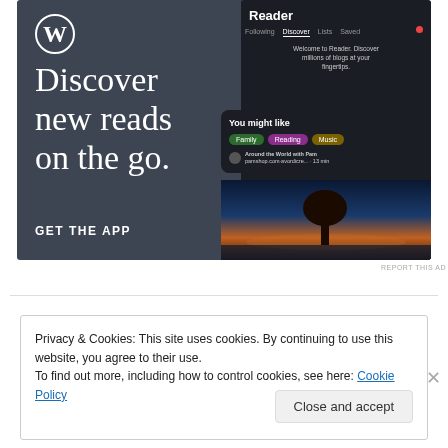[Figure (screenshot): WordPress app advertisement banner. Dark slate background (#3d4452) with WordPress circular 'W' logo top-left. Large serif white text reads 'Discover new reads on the go.' Bold white text reads 'GET THE APP'. Right side shows a dark phone mockup with the WordPress Reader interface showing categories 'Following', 'Discover', 'Lists', 'Saved', a 'You might like' card with tags (Family, Reading, Music), an article preview 'Around the World with Pam', and a tree silhouette photo at dusk.]
REPORT THIS AD
Privacy & Cookies: This site uses cookies. By continuing to use this website, you agree to their use.
To find out more, including how to control cookies, see here: Cookie Policy